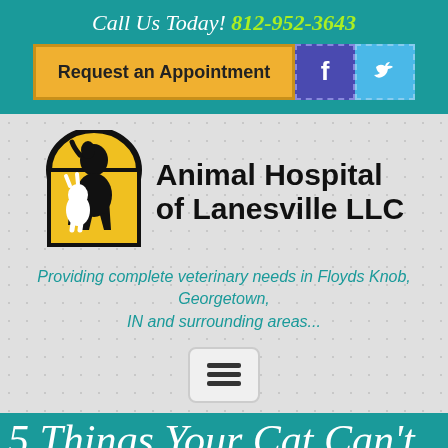Call Us Today! 812-952-3643
[Figure (screenshot): Request an Appointment button with Facebook and Twitter social media icons]
[Figure (logo): Animal Hospital of Lanesville LLC logo with dog and cat silhouette in yellow arch]
Animal Hospital of Lanesville LLC
Providing complete veterinary needs in Floyds Knob, Georgetown, IN and surrounding areas...
[Figure (other): Hamburger menu button]
5 Things Your Cat Can't
We use cookies to ensure that we give you the best experience on our website. If you continue to use this site we will assume that you are happy with it.